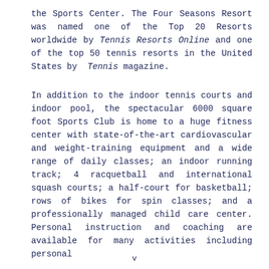the Sports Center. The Four Seasons Resort was named one of the Top 20 Resorts worldwide by Tennis Resorts Online and one of the top 50 tennis resorts in the United States by Tennis magazine.
In addition to the indoor tennis courts and indoor pool, the spectacular 6000 square foot Sports Club is home to a huge fitness center with state-of-the-art cardiovascular and weight-training equipment and a wide range of daily classes; an indoor running track; 4 racquetball and international squash courts; a half-court for basketball; rows of bikes for spin classes; and a professionally managed child care center. Personal instruction and coaching are available for many activities including personal
v